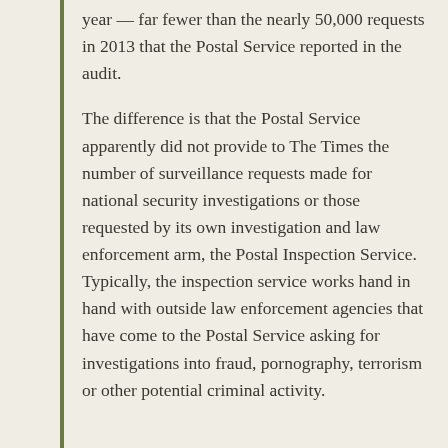year — far fewer than the nearly 50,000 requests in 2013 that the Postal Service reported in the audit.
The difference is that the Postal Service apparently did not provide to The Times the number of surveillance requests made for national security investigations or those requested by its own investigation and law enforcement arm, the Postal Inspection Service. Typically, the inspection service works hand in hand with outside law enforcement agencies that have come to the Postal Service asking for investigations into fraud, pornography, terrorism or other potential criminal activity.